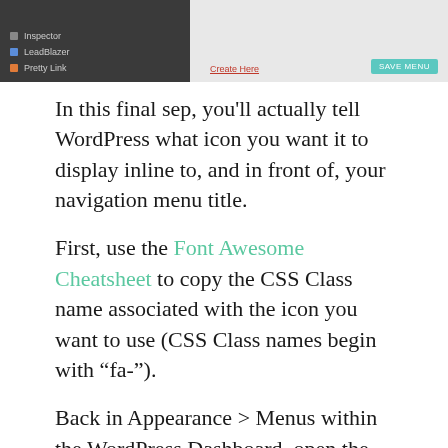[Figure (screenshot): WordPress dashboard screenshot showing left sidebar menu items (Inspector, LeadBlazer, Pretty Link) and a right panel with a red link and teal Save Menu button]
In this final sep, you'll actually tell WordPress what icon you want it to display inline to, and in front of, your navigation menu title.
First, use the Font Awesome Cheatsheet to copy the CSS Class name associated with the icon you want to use (CSS Class names begin with “fa-”).
Back in Appearance > Menus within the WordPress Dashboard, open the Menu